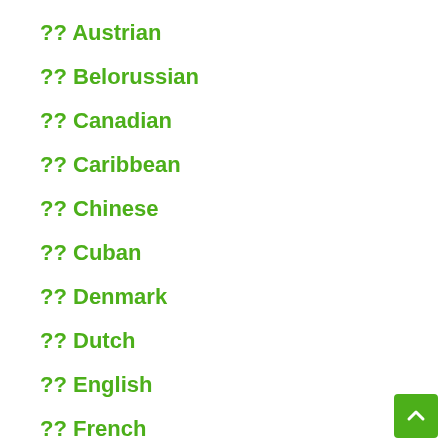?? Austrian
?? Belorussian
?? Canadian
?? Caribbean
?? Chinese
?? Cuban
?? Denmark
?? Dutch
?? English
?? French
?? Georgian